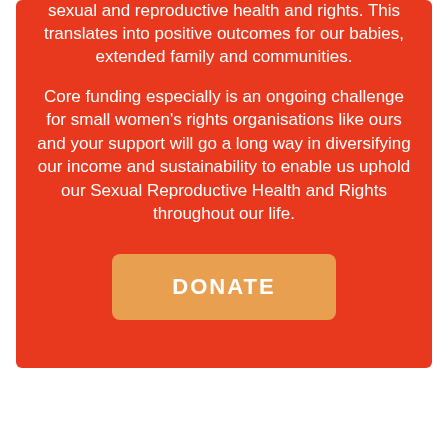sexual and reproductive health and rights. This translates into positive outcomes for our babies, extended family and communities.
Core funding especially is an ongoing challenge for small women's rights organisations like ours and your support will go a long way in diversifying our income and sustainability to enable us uphold our Sexual Reproductive Health and Rights throughout our life.
DONATE